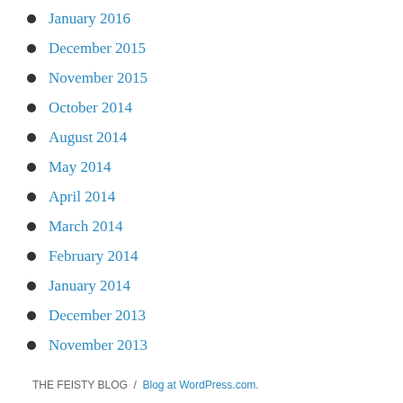January 2016
December 2015
November 2015
October 2014
August 2014
May 2014
April 2014
March 2014
February 2014
January 2014
December 2013
November 2013
THE FEISTY BLOG / Blog at WordPress.com.